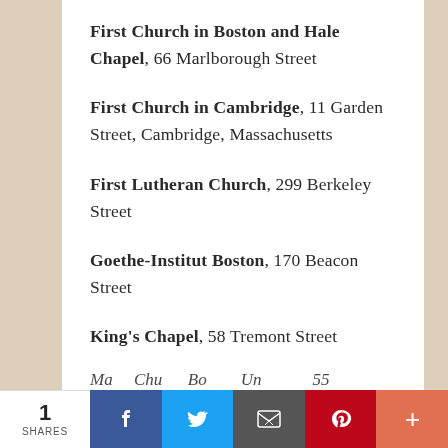First Church in Boston and Hale Chapel, 66 Marlborough Street
First Church in Cambridge, 11 Garden Street, Cambridge, Massachusetts
First Lutheran Church, 299 Berkeley Street
Goethe-Institut Boston, 170 Beacon Street
King's Chapel, 58 Tremont Street
1 SHARES  [Facebook] [Twitter] [Email] [Pinterest] [More]